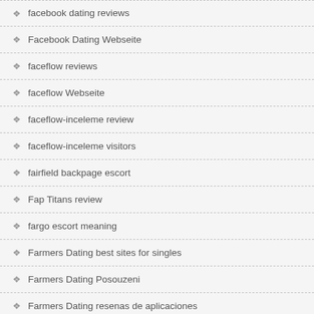facebook dating reviews
Facebook Dating Webseite
faceflow reviews
faceflow Webseite
faceflow-inceleme review
faceflow-inceleme visitors
fairfield backpage escort
Fap Titans review
fargo escort meaning
Farmers Dating best sites for singles
Farmers Dating Posouzeni
Farmers Dating resenas de aplicaciones